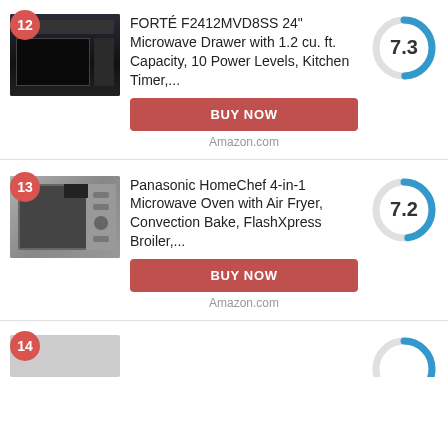[Figure (photo): Product listing item 12: FORTÉ F2412MVD8SS microwave drawer (dark built-in), score 7.3, BUY NOW button, Amazon.com]
[Figure (photo): Product listing item 13: Panasonic HomeChef 4-in-1 Microwave Oven (silver countertop), score 7.2, BUY NOW button, Amazon.com]
[Figure (photo): Product listing item 14 (partially visible at bottom)]